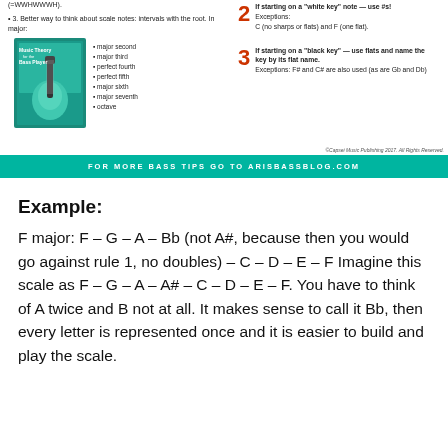(=WWHWWWH).
3. Better way to think about scale notes: intervals with the root. In major:
[Figure (photo): Book cover: Music Theory for the Bass Player]
major second, major third, perfect fourth, perfect fifth, major sixth, major seventh, octave
2 If starting on a "white key" note — use #s! Exceptions: C (no sharps or flats) and F (one flat).
3 If starting on a "black key" — use flats and name the key by its flat name. Exceptions: F# and C# are also used (as are Gb and Db)
©Capsei Music Publishing 2017. All Rights Reserved.
FOR MORE BASS TIPS GO TO ARISBASSBLOG.COM
Example:
F major: F – G – A – Bb (not A#, because then you would go against rule 1, no doubles) – C – D – E – F Imagine this scale as F – G – A – A# – C – D – E – F. You have to think of A twice and B not at all. It makes sense to call it Bb, then every letter is represented once and it is easier to build and play the scale.